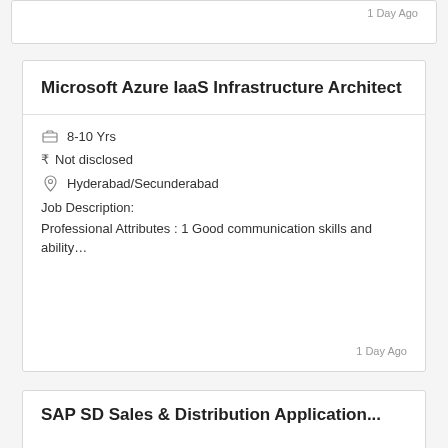1 Day Ago
Microsoft Azure IaaS Infrastructure Architect
8-10 Yrs
Not disclosed
Hyderabad/Secunderabad
Job Description:
Professional Attributes : 1 Good communication skills and ability…
1 Day Ago
SAP SD Sales & Distribution Application...